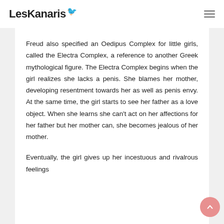LesKanaris
Freud also specified an Oedipus Complex for little girls, called the Electra Complex, a reference to another Greek mythological figure. The Electra Complex begins when the girl realizes she lacks a penis. She blames her mother, developing resentment towards her as well as penis envy. At the same time, the girl starts to see her father as a love object. When she learns she can't act on her affections for her father but her mother can, she becomes jealous of her mother.
Eventually, the girl gives up her incestuous and rivalrous feelings...